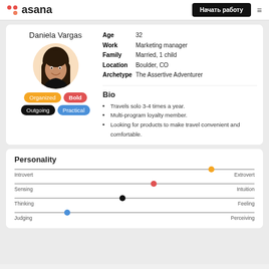asana | Начать работу
Daniela Vargas
[Figure (photo): Portrait photo of Daniela Vargas, a young woman with dark hair, smiling, in a circular avatar on a peach/orange background]
Organized | Bold | Outgoing | Practical
| Attribute | Value |
| --- | --- |
| Age | 32 |
| Work | Marketing manager |
| Family | Married, 1 child |
| Location | Boulder, CO |
| Archetype | The Assertive Adventurer |
Bio
Travels solo 3-4 times a year.
Multi-program loyalty member.
Looking for products to make travel convenient and comfortable.
Personality
[Figure (infographic): Personality sliders showing: Introvert-Extrovert (dot near Extrovert), Sensing-Intuition (dot in middle-right), Thinking-Feeling (dot in middle), Judging-Perceiving (dot near left/Judging)]